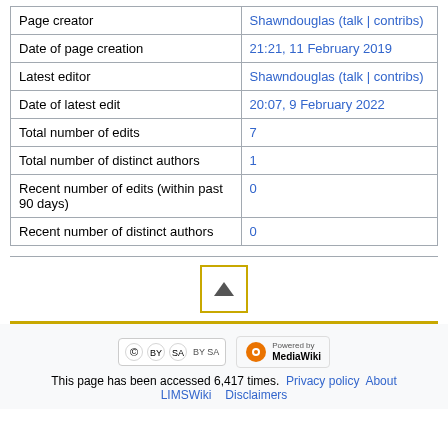| Page creator | Shawndouglas (talk | contribs) |
| Date of page creation | 21:21, 11 February 2019 |
| Latest editor | Shawndouglas (talk | contribs) |
| Date of latest edit | 20:07, 9 February 2022 |
| Total number of edits | 7 |
| Total number of distinct authors | 1 |
| Recent number of edits (within past 90 days) | 0 |
| Recent number of distinct authors | 0 |
[Figure (other): Back to top button — a square button with an upward-pointing triangle (arrow) icon, bordered in gold/yellow]
[Figure (logo): Creative Commons BY-SA license badge and Powered by MediaWiki badge]
This page has been accessed 6,417 times. Privacy policy About LIMSWiki Disclaimers